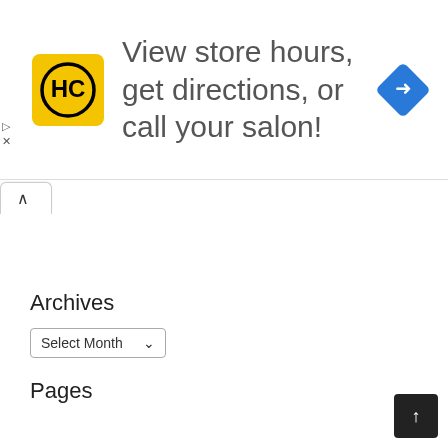[Figure (other): Advertisement banner with HC logo (yellow square with black HC text in circle), text 'View store hours, get directions, or call your salon!', and a blue diamond-shaped navigation/directions icon on the right. Small play and close ad controls on the left edge.]
Archives
Select Month
Pages